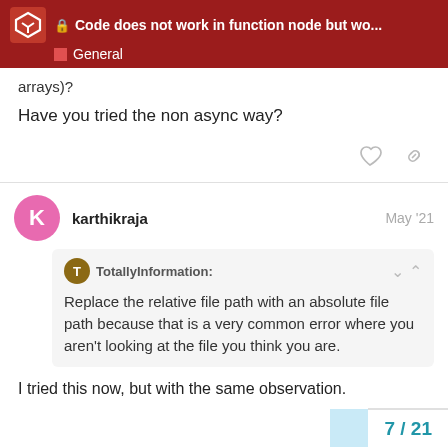Code does not work in function node but wo... | General
arrays)?
Have you tried the non async way?
karthikraja  May '21
TotallyInformation:
Replace the relative file path with an absolute file path because that is a very common error where you aren't looking at the file you think you are.
I tried this now, but with the same observation.
7 / 21